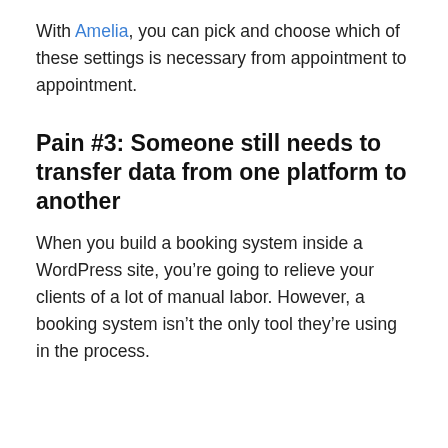With Amelia, you can pick and choose which of these settings is necessary from appointment to appointment.
Pain #3: Someone still needs to transfer data from one platform to another
When you build a booking system inside a WordPress site, you're going to relieve your clients of a lot of manual labor. However, a booking system isn't the only tool they're using in the process.